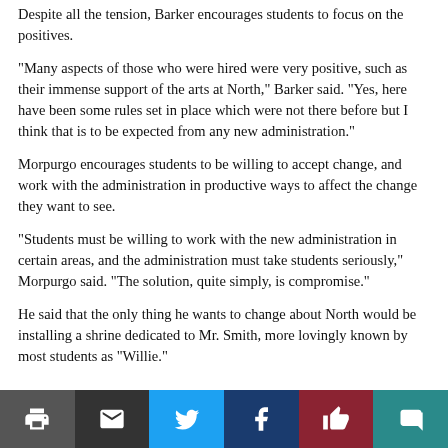Despite all the tension, Barker encourages students to focus on the positives.
“Many aspects of those who were hired were very positive, such as their immense support of the arts at North,” Barker said. “Yes, here have been some rules set in place which were not there before but I think that is to be expected from any new administration.”
Morpurgo encourages students to be willing to accept change, and work with the administration in productive ways to affect the change they want to see.
“Students must be willing to work with the new administration in certain areas, and the administration must take students seriously,” Morpurgo said. “The solution, quite simply, is compromise.”
He said that the only thing he wants to change about North would be installing a shrine dedicated to Mr. Smith, more lovingly known by most students as “Willie.”
[Figure (infographic): Social sharing bar with icons for print, email, Twitter, Facebook, like/thumbs-up, and comment]